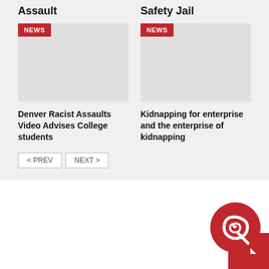Assault
Safety Jail
[Figure (photo): News card image placeholder with NEWS badge, left card]
[Figure (photo): News card image placeholder with NEWS badge, right card]
Denver Racist Assaults Video Advises College students
Kidnapping for enterprise and the enterprise of kidnapping
< PREV   NEXT >
[Figure (logo): Red circular logo with stylized Q/chat icon on red square background, bottom right corner]